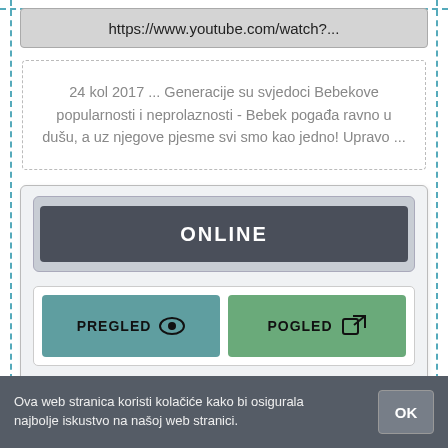https://www.youtube.com/watch?...
24 kol 2017 ... Generacije su svjedoci Bebekove popularnosti i neprolaznosti - Bebek pogađa ravno u dušu, a uz njegove pjesme svi smo kao jedno! Upravo ...
[Figure (screenshot): Online button with PREGLED and POGLED sub-buttons in a card UI]
[Figure (screenshot): Partially visible bottom card with teal dashed inner border]
Ova web stranica koristi kolačiće kako bi osigurala najbolje iskustvo na našoj web stranici.